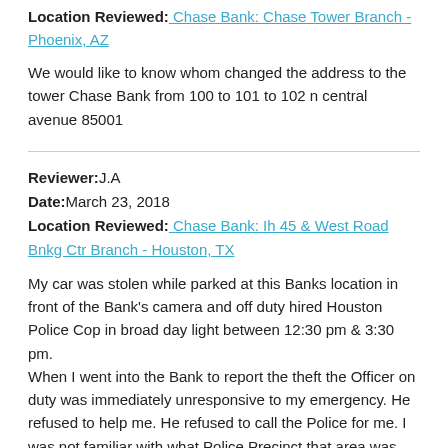Location Reviewed: Chase Bank: Chase Tower Branch - Phoenix, AZ
We would like to know whom changed the address to the tower Chase Bank from 100 to 101 to 102 n central avenue 85001
Reviewer: J.A
Date: March 23, 2018
Location Reviewed: Chase Bank: Ih 45 & West Road Bnkg Ctr Branch - Houston, TX
My car was stolen while parked at this Banks location in front of the Bank's camera and off duty hired Houston Police Cop in broad day light between 12:30 pm & 3:30 pm.
When I went into the Bank to report the theft the Officer on duty was immediately unresponsive to my emergency. He refused to help me. He refused to call the Police for me. I was not familiar with what Police Precinct that area was assigned to. Houston has tons of Police / Sheriff locations. I ask the Bank off duty Police Office Guard what Police Dept. to call & He refused to